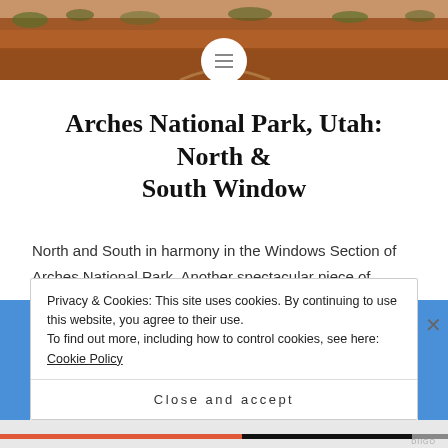[Figure (photo): Desert landscape with red sandstone and sparse vegetation — Arches National Park hero image]
Arches National Park, Utah: North & South Window
North and South in harmony in the Windows Section of Arches National Park. Another spectacular piece of natures sandstone art, these arches are really part of a massive rock formation. Pretty impressive!
Privacy & Cookies: This site uses cookies. By continuing to use this website, you agree to their use.
To find out more, including how to control cookies, see here: Cookie Policy
Close and accept